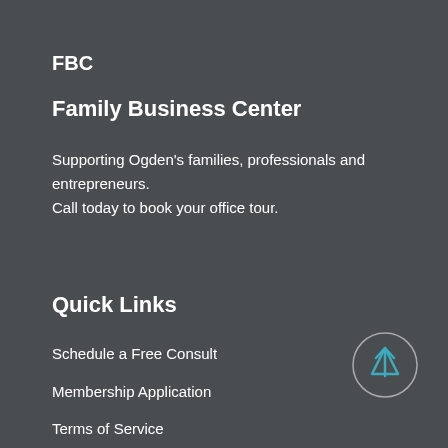FBC
Family Business Center
Supporting Ogden's families, professionals and entrepreneurs. Call today to book your office tour.
Quick Links
Schedule a Free Consult
Membership Application
Terms of Service
Privacy Poli…
[Figure (other): Circular scroll-to-top button with upward arrow in teal/cyan color]